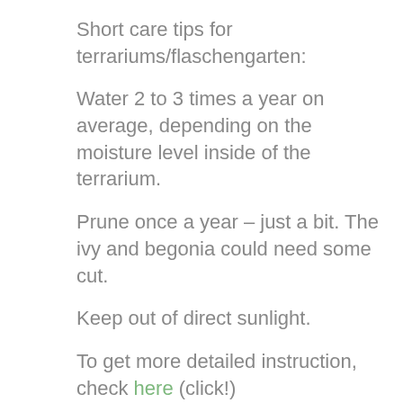Short care tips for terrariums/flaschengarten:
Water 2 to 3 times a year on average, depending on the moisture level inside of the terrarium.
Prune once a year – just a bit. The ivy and begonia could need some cut.
Keep out of direct sunlight.
To get more detailed instruction, check here (click!)